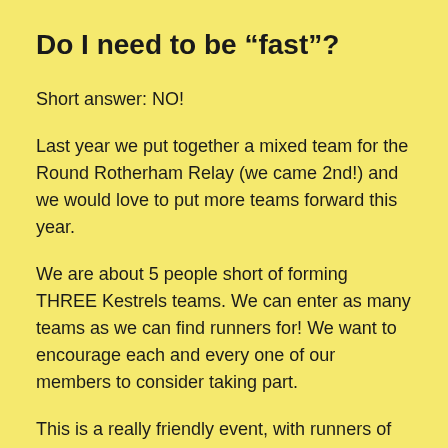Do I need to be “fast”?
Short answer: NO!
Last year we put together a mixed team for the Round Rotherham Relay (we came 2nd!) and we would love to put more teams forward this year.
We are about 5 people short of forming THREE Kestrels teams. We can enter as many teams as we can find runners for! We want to encourage each and every one of our members to consider taking part.
This is a really friendly event, with runners of ALL abilities taking part. It’s not for serious club…